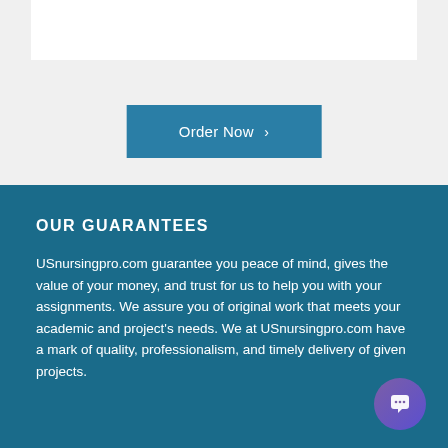[Figure (screenshot): White bar element at top of page on grey background]
[Figure (other): Order Now button with right chevron arrow in steel blue]
OUR GUARANTEES
USnursingpro.com guarantee you peace of mind, gives the value of your money, and trust for us to help you with your assignments. We assure you of original work that meets your academic and project's needs. We at USnursingpro.com have a mark of quality, professionalism, and timely delivery of given projects.